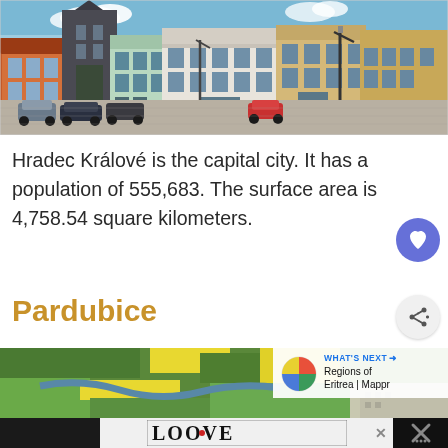[Figure (photo): City square of Hradec Králové showing historic buildings with colorful facades, a church, parked cars, and cobblestone pavement.]
Hradec Králové is the capital city. It has a population of 555,683. The surface area is 4,758.54 square kilometers.
Pardubice
[Figure (photo): Aerial view of Pardubice region showing green fields, yellow rapeseed fields, a winding river, and urban area in the distance. A 'WHAT'S NEXT' overlay shows 'Regions of Eritrea | Mappr'.]
[Figure (other): Advertisement banner at bottom showing 'LOOVE' stylized text design.]